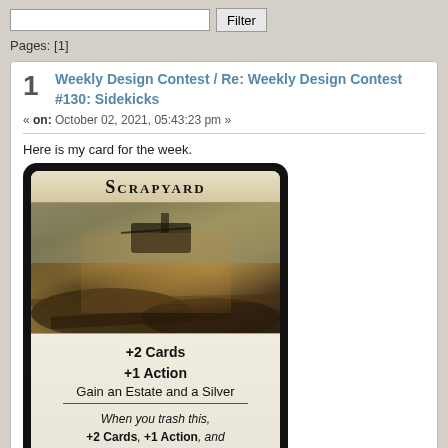Filter
Pages: [1]
1 Weekly Design Contest / Re: Weekly Design Contest #130: Sidekicks
« on: October 02, 2021, 05:43:23 pm »
Here is my card for the week.
[Figure (illustration): A game card named SCRAPYARD showing a post-apocalyptic scrapyard scene. Card text reads: +2 Cards, +1 Action, Gain an Estate and a Silver. When you trash this, +2 Cards, +1 Action, and gain a Duchy or a Gold to...]